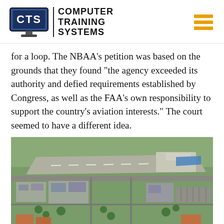[Figure (logo): Computer Training Systems (CTS) logo with monitor icon and text]
for a loop. The NBAA's petition was based on the grounds that they found "the agency exceeded its authority and defied requirements established by Congress, as well as the FAA's own responsibility to support the country's aviation interests." The court seemed to have a different idea.
[Figure (photo): Aerial photograph of an airport surrounded by urban neighborhoods and commercial buildings]